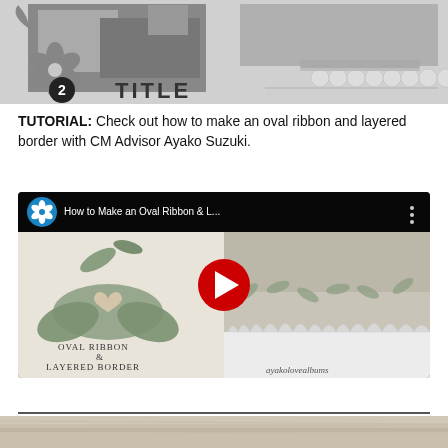[Figure (illustration): Scrapbook layout sketch with gray shapes, a flower embellishment, a circled number 2, and TITLE text placeholder]
TUTORIAL: Check out how to make an oval ribbon and layered border with CM Advisor Ayako Suzuki.
[Figure (screenshot): YouTube video thumbnail titled 'How to Make an Oval Ribbon & L...' showing a crafted oval ribbon bow with a heart charm, layered botanical border with white leaf cutouts, and channel name ayakolovealbums. Red play button centered on thumbnail.]
[Figure (photo): Partial view of a scrapbook page with wooden/rustic texture at the bottom of the page]